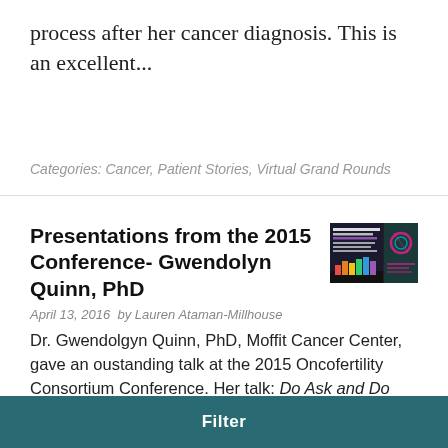process after her cancer diagnosis. This is an excellent...
Categories: Cancer, Patient Stories, Virtual Grand Rounds
Presentations from the 2015 Conference- Gwendolyn Quinn, PhD
April 13, 2016  by Lauren Ataman-Millhouse
[Figure (photo): Book cover: Do Ask and Do Tell: The Importance of LGBTQ Status in Reproductive Health]
Dr. Gwendolgyn Quinn, PhD, Moffit Cancer Center, gave an oustanding talk at the 2015 Oncofertility Consortium Conference. Her talk: Do Ask and Do Tell: The Importance of LGBTQ Status in Reproductive Health visited the contemporary topic of lesbian, gay, bisexual, transgender, queer (LGBTQ)
Filter